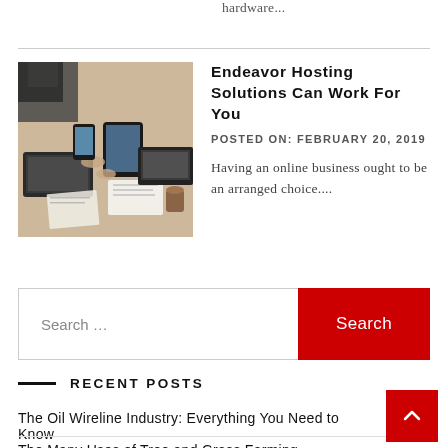hardware...
[Figure (photo): People working around a table with laptops, tablets, and documents]
Endeavor Hosting Solutions Can Work For You
POSTED ON: FEBRUARY 20, 2019
Having an online business ought to be an arranged choice....
Search …
RECENT POSTS
The Oil Wireline Industry: Everything You Need to Know
The Many Uses of Tree and Grass Farming